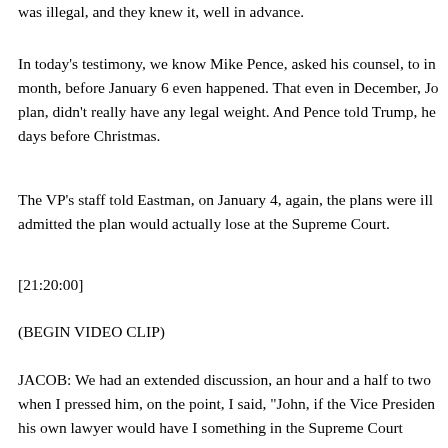was illegal, and they knew it, well in advance.
In today's testimony, we know Mike Pence, asked his counsel, to in month, before January 6 even happened. That even in December, Jo plan, didn't really have any legal weight. And Pence told Trump, he days before Christmas.
The VP's staff told Eastman, on January 4, again, the plans were ill admitted the plan would actually lose at the Supreme Court.
[21:20:00]
(BEGIN VIDEO CLIP)
JACOB: We had an extended discussion, an hour and a half to two when I pressed him, on the point, I said, "John, if the Vice Presiden his own lawyer would have I something in the Supreme Court